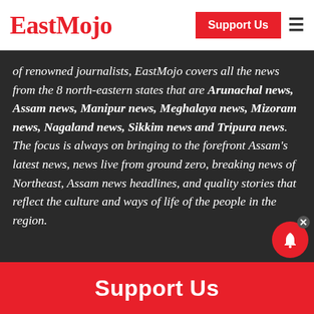EastMojo | Support Us
of renowned journalists, EastMojo covers all the news from the 8 north-eastern states that are Arunachal news, Assam news, Manipur news, Meghalaya news, Mizoram news, Nagaland news, Sikkim news and Tripura news. The focus is always on bringing to the forefront Assam's latest news, news live from ground zero, breaking news of Northeast, Assam news headlines, and quality stories that reflect the culture and ways of life of the people in the region.
Support Us